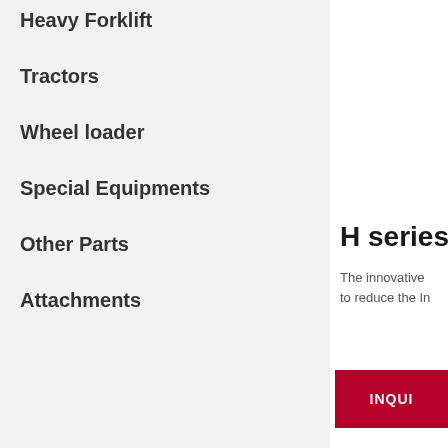Heavy Forklift
Tractors
Wheel loader
Special Equipments
Other Parts
Attachments
H series
The innovative to reduce the In
INQUI